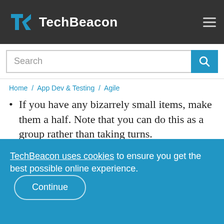TechBeacon
Search
Home / App Dev & Testing / Agile
If you have any bizarrely small items, make them a half. Note that you can do this as a group rather than taking turns.
You will notice some things are out of order from the first pass. You might...
TechBeacon uses cookies to ensure you get the best possible online experience. Continue